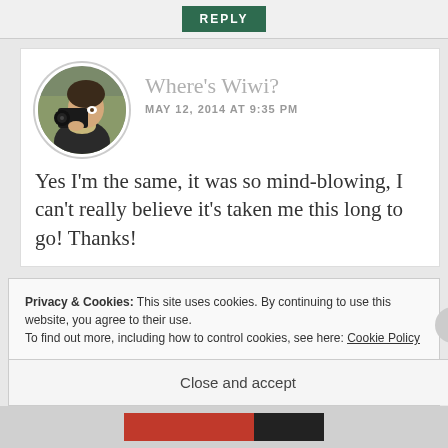REPLY
Where's Wiwi?
MAY 12, 2014 AT 9:35 PM
Yes I'm the same, it was so mind-blowing, I can't really believe it's taken me this long to go! Thanks!
Privacy & Cookies: This site uses cookies. By continuing to use this website, you agree to their use.
To find out more, including how to control cookies, see here: Cookie Policy
Close and accept